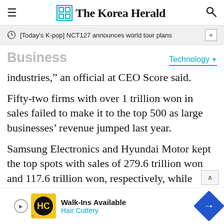The Korea Herald
[Today's K-pop] NCT127 announces world tour plans
Business
Technology
industries,” an official at CEO Score said.
Fifty-two firms with over 1 trillion won in sales failed to make it to the top 500 as large businesses’ revenue jumped last year.
Samsung Electronics and Hyundai Motor kept the top spots with sales of 279.6 trillion won and 117.6 trillion won, respectively, while
[Figure (screenshot): Advertisement banner for Hair Cuttery: Walk-Ins Available]